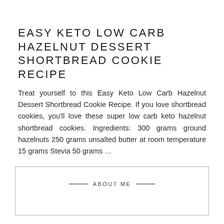EASY KETO LOW CARB HAZELNUT DESSERT SHORTBREAD COOKIE RECIPE
Treat yourself to this Easy Keto Low Carb Hazelnut Dessert Shortbread Cookie Recipe. If you love shortbread cookies, you'll love these super low carb keto hazelnut shortbread cookies. Ingredients: 300 grams ground hazelnuts 250 grams unsalted butter at room temperature 15 grams Stevia 50 grams …
ABOUT ME